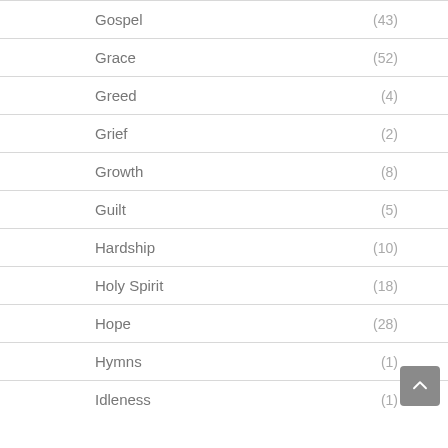Gospel (43)
Grace (52)
Greed (4)
Grief (2)
Growth (8)
Guilt (5)
Hardship (10)
Holy Spirit (18)
Hope (28)
Hymns (1)
Idleness (1)